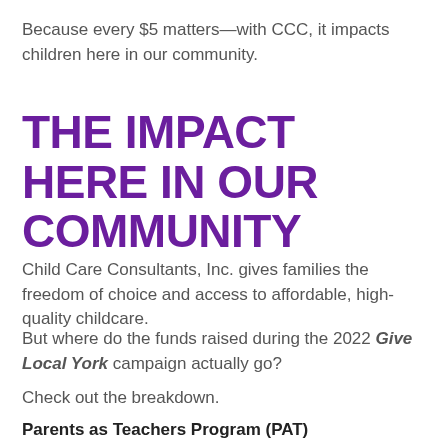Because every $5 matters—with CCC, it impacts children here in our community.
THE IMPACT HERE IN OUR COMMUNITY
Child Care Consultants, Inc. gives families the freedom of choice and access to affordable, high-quality childcare.
But where do the funds raised during the 2022 Give Local York campaign actually go?
Check out the breakdown.
Parents as Teachers Program (PAT)